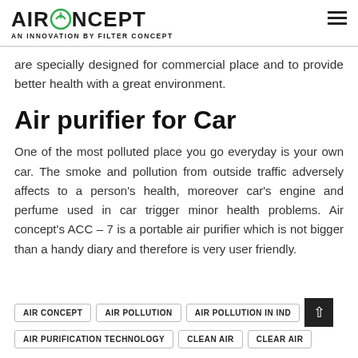AIRCONCEPT AN INNOVATION BY FILTER CONCEPT
are specially designed for commercial place and to provide better health with a great environment.
Air purifier for Car
One of the most polluted place you go everyday is your own car. The smoke and pollution from outside traffic adversely affects to a person's health, moreover car's engine and perfume used in car trigger minor health problems. Air concept's ACC – 7 is a portable air purifier which is not bigger than a handy diary and therefore is very user friendly.
AIR CONCEPT
AIR POLLUTION
AIR POLLUTION IN IND
AIR PURIFICATION TECHNOLOGY
CLEAN AIR
CLEAR AIR